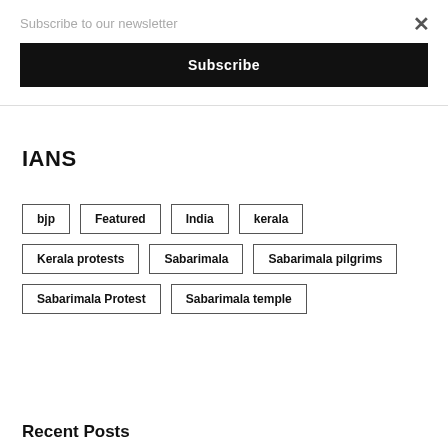Subscribe to our newsletter
Subscribe
×
IANS
bjp
Featured
India
kerala
Kerala protests
Sabarimala
Sabarimala pilgrims
Sabarimala Protest
Sabarimala temple
Recent Posts